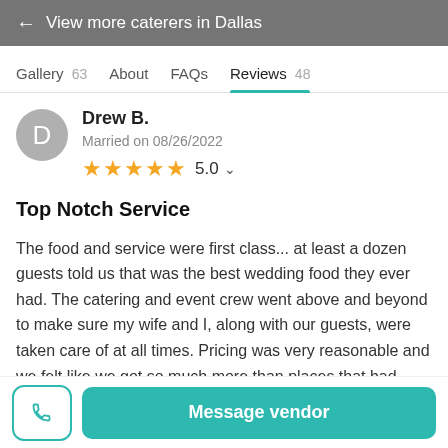← View more caterers in Dallas
Gallery 63   About   FAQs   Reviews 48
Drew B.
Married on 08/26/2022
★★★★★ 5.0
Top Notch Service
The food and service were first class... at least a dozen guests told us that was the best wedding food they ever had. The catering and event crew went above and beyond to make sure my wife and I, along with our guests, were taken care of at all times. Pricing was very reasonable and we felt like we got so much more than places that had
Message vendor